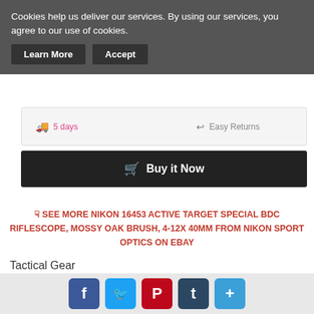Cookies help us deliver our services. By using our services, you agree to our use of cookies.
Learn More | Accept
5 days   Easy Returns
Buy it Now
SEE MORE NIKON 16453 ACTIVE TARGET SPECIAL BDC RIFLESCOPE, MOSSY OAK BRUSH, 4-12X 40MM FROM NIKON SPORT OPTICS ON EBAY
Tactical Gear
Ballistic Helmets (13)
Combat Knife (255)
Gas Masks (114)